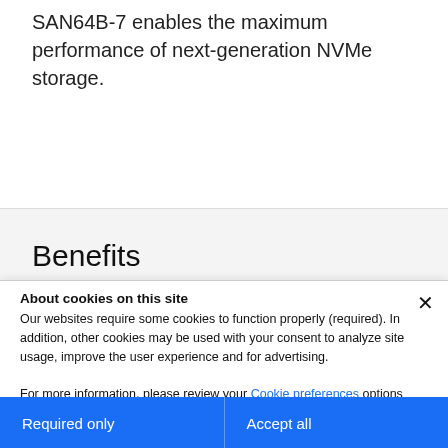SAN64B-7 enables the maximum performance of next-generation NVMe storage.
Benefits
About cookies on this site
Our websites require some cookies to function properly (required). In addition, other cookies may be used with your consent to analyze site usage, improve the user experience and for advertising.

For more information, please review your Cookie preferences options and IBM's privacy statement.